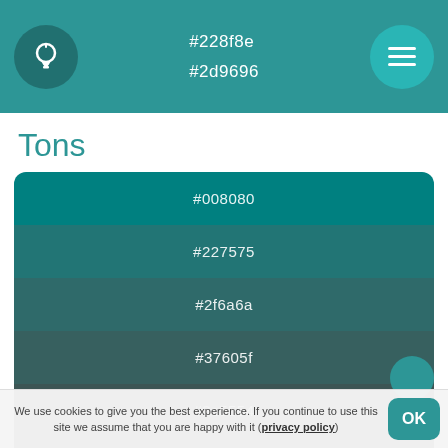#228f8e #2d9696
Tons
[Figure (infographic): Color swatch card showing teal-to-dark gradient with hex codes: #008080, #227575, #2f6a6a, #37605f, #3c5554, #3f4a4a, #404040]
Tonalidades de cor
We use cookies to give you the best experience. If you continue to use this site we assume that you are happy with it (privacy policy)